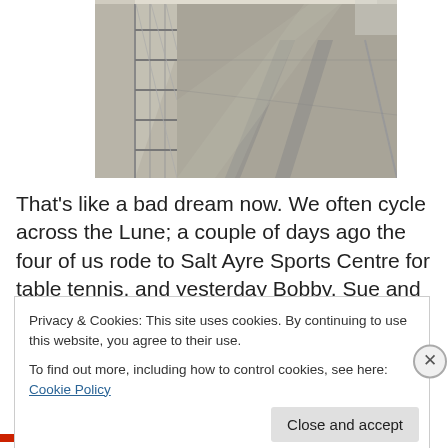[Figure (photo): Aerial or angled view of a cycle/railway bridge surface with metal railings on one side and tram/rail tracks, shadows cast across the surface]
That's like a bad dream now. We often cycle across the Lune; a couple of days ago the four of us rode to Salt Ayre Sports Centre for table tennis, and yesterday Bobby, Sue and I went across to do some training around the cycle
Privacy & Cookies: This site uses cookies. By continuing to use this website, you agree to their use.
To find out more, including how to control cookies, see here: Cookie Policy